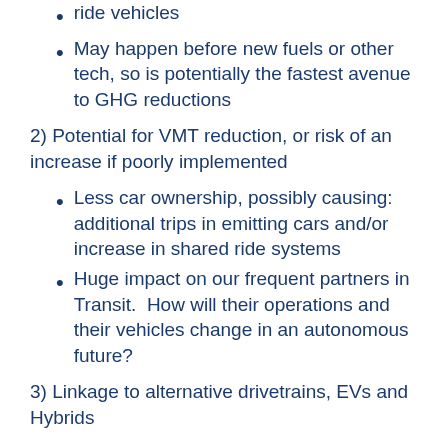ride vehicles
May happen before new fuels or other tech, so is potentially the fastest avenue to GHG reductions
2) Potential for VMT reduction, or risk of an increase if poorly implemented
Less car ownership, possibly causing: additional trips in emitting cars and/or increase in shared ride systems
Huge impact on our frequent partners in Transit.  How will their operations and their vehicles change in an autonomous future?
3) Linkage to alternative drivetrains, EVs and Hybrids